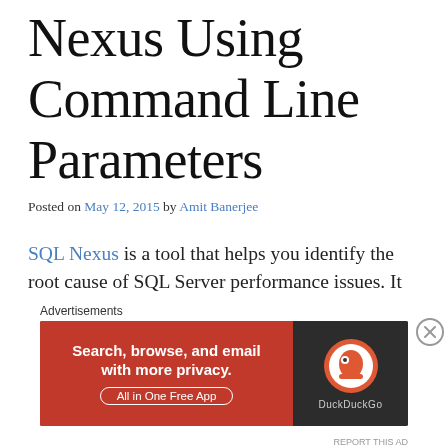Nexus Using Command Line Parameters
Posted on May 12, 2015 by Amit Banerjee
SQL Nexus is a tool that helps you identify the root cause of SQL Server performance issues. It loads and analyzes performance data collected by SQLDiag and PSSDiag. It can dramatically reduce the amount of time you spend manually analyzing data. One of the least commonly known facts is that the SQL
Advertisements
[Figure (infographic): DuckDuckGo advertisement banner: 'Search, browse, and email with more privacy. All in One Free App' with DuckDuckGo logo on dark background.]